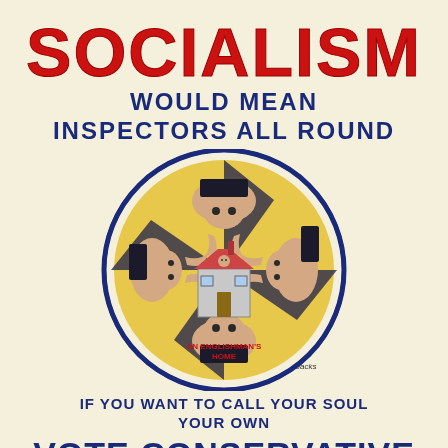SOCIALISM WOULD MEAN INSPECTORS ALL ROUND
[Figure (illustration): A circular illustration showing a small English house in the center labeled 'AN ENGLISHMAN'S HOME', surrounded by four menacing inspector figures closing in from all sides with pointing hands and grasping fingers, wearing dark hats against a yellow background inside a dark blue circle border. Signed 'Jacks' at lower right.]
IF YOU WANT TO CALL YOUR SOUL YOUR OWN
VOTE CONSERVATIVE